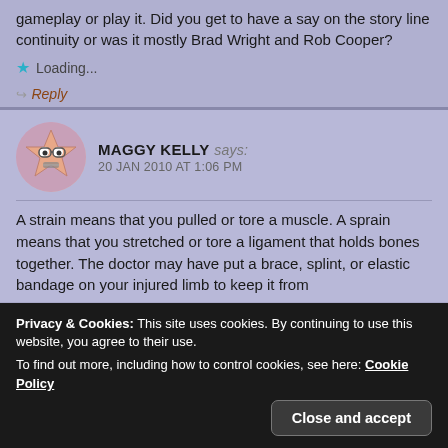gameplay or play it. Did you get to have a say on the story line continuity or was it mostly Brad Wright and Rob Cooper?
Loading...
Reply
MAGGY KELLY says:
20 JAN 2010 AT 1:06 PM
A strain means that you pulled or tore a muscle. A sprain means that you stretched or tore a ligament that holds bones together. The doctor may have put a brace, splint, or elastic bandage on your injured limb to keep it from
Privacy & Cookies: This site uses cookies. By continuing to use this website, you agree to their use.
To find out more, including how to control cookies, see here: Cookie Policy
Close and accept
Reply